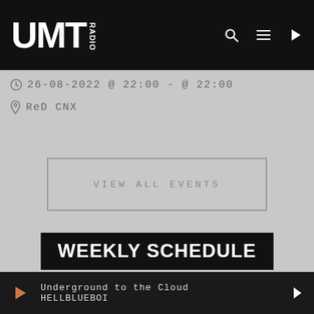UMT RADIO
26-08-2022 @ 22:00 - @ 22:00
ReD CNX
VIEW ALL EVENTS
WEEKLY SCHEDULE
SELECT
Underground to the Cloud HELLBLUEBOI